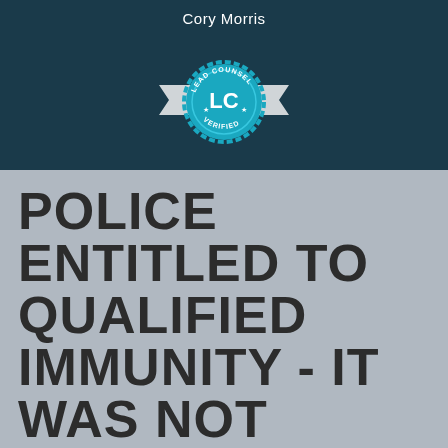Cory Morris
[Figure (logo): Lead Counsel Verified badge - circular teal badge with LC initials and star decorations, flanked by ribbon banners]
POLICE ENTITLED TO QUALIFIED IMMUNITY - IT WAS NOT CLEARLY ESTABLISHED LAW THAT POLICE CAN'T KNOCK A